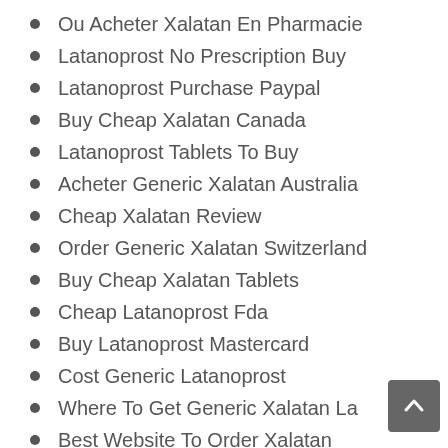Ou Acheter Xalatan En Pharmacie
Latanoprost No Prescription Buy
Latanoprost Purchase Paypal
Buy Cheap Xalatan Canada
Latanoprost Tablets To Buy
Acheter Generic Xalatan Australia
Cheap Xalatan Review
Order Generic Xalatan Switzerland
Buy Cheap Xalatan Tablets
Cheap Latanoprost Fda
Buy Latanoprost Mastercard
Cost Generic Latanoprost
Where To Get Generic Xalatan La
Best Website To Order Xalatan
Buy Generic Xalatan Fast Shipping